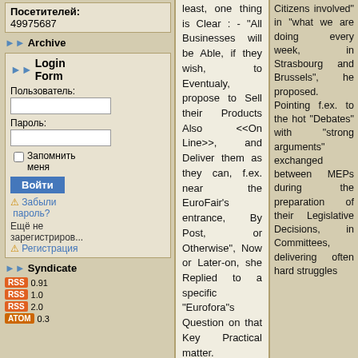Посетителей: 49975687
Archive
Login Form
Пользователь:
Пароль:
Запомнить меня
Войти
Забыли пароль?
Ещё не зарегистрированы?
Регистрация
Syndicate
RSS 0.91
RSS 1.0
RSS 2.0
ATOM 0.3
least, one thing is Clear : - "All Businesses will be Able, if they wish, to Eventualy, propose to Sell their Products Also <<On Line>>, and Deliver them as they can, f.ex. near the EuroFair's entrance, By Post, or Otherwise", Now or Later-on, she Replied to a specific "Eurofora"s Question on that Key Practical matter.

=> The Point, Obviously, is, that, in this way, they Can Overcome the "Inevitable UnCertainty" about "Whether Most People might Fear to go to a Collective Event as long as the Virus Still Circulates around, Or, on the Contrary, Frustrated, Nowadays, After a Long Period withOut Yet enough Occasions for Meet and Interact with Other Persons, and/or Breath, Outdoors, some Fresh Air, Together with their Family and Friends, while also Discovering New things, Will, rather, Rush to Seize This Rare Opportunity", as she explained. Because, at Any Case, All Interested Potential Clients, would be Informed about the Offers of Businesses Presenting their Products at Strasbourg's "Euro-Fair", and, if they Wish, they Would be Able to
Citizens involved" in "what we are doing every week, in Strasbourg and Brussels", he proposed. Pointing f.ex. to the hot "Debates" with "strong arguments" exchanged between MEPs during the preparation of their Legislative Decisions, in Committees, delivering often hard struggles